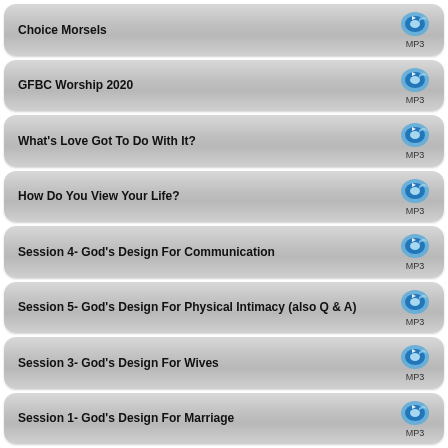Choice Morsels
GFBC Worship 2020
What's Love Got To Do With It?
How Do You View Your Life?
Session 4- God's Design For Communication
Session 5- God's Design For Physical Intimacy (also Q & A)
Session 3- God's Design For Wives
Session 1- God's Design For Marriage